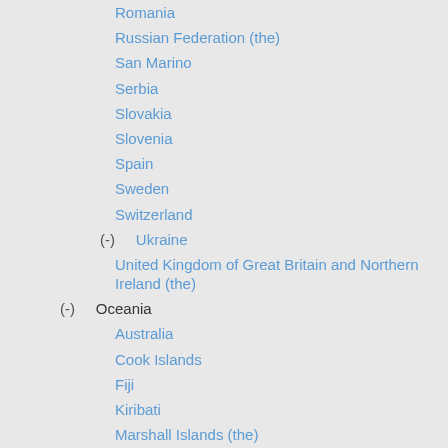Romania
Russian Federation (the)
San Marino
Serbia
Slovakia
Slovenia
Spain
Sweden
Switzerland
(-) Ukraine
United Kingdom of Great Britain and Northern Ireland (the)
(-) Oceania
Australia
Cook Islands
Fiji
Kiribati
Marshall Islands (the)
Micronesia (Federated States of)
(-) Nauru
New Zealand
(-) Niue
Palau